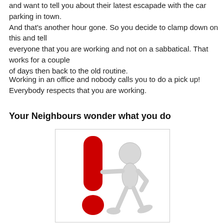and want to tell you about their latest escapade with the car parking in town.
And that's another hour gone. So you decide to clamp down on this and tell everyone that you are working and not on a sabbatical. That works for a couple of days then back to the old routine.
Working in an office and nobody calls you to do a pick up! Everybody respects that you are working.
Your Neighbours wonder what you do
[Figure (illustration): A 3D white stick figure character leaning against a large red exclamation mark, with a red dot at the bottom. The figure has a round head and is posed casually with one hand on hip.]